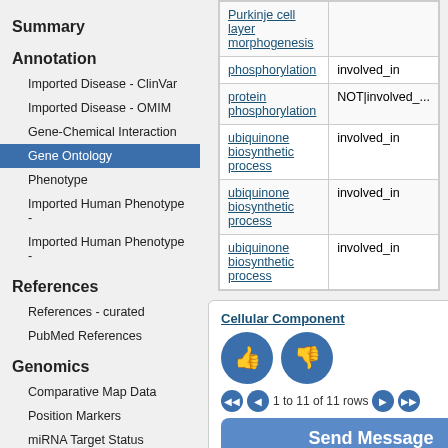Summary
Annotation
Imported Disease - ClinVar
Imported Disease - OMIM
Gene-Chemical Interaction
Gene Ontology
Phenotype
Imported Human Phenotype -
Imported Human Phenotype -
References
References - curated
PubMed References
Genomics
Comparative Map Data
Position Markers
miRNA Target Status
Expression
RNA-SEQ Expression
| Term | Qualifier |
| --- | --- |
| Purkinje cell layer morphogenesis |  |
| phosphorylation | involved_in |
| protein phosphorylation | NOT|involved_... |
| ubiquinone biosynthetic process | involved_in |
| ubiquinone biosynthetic process | involved_in |
| ubiquinone biosynthetic process | involved_in |
[Figure (screenshot): Feedback dialog with thumbs up and thumbs down buttons, pagination showing '1 to 11 of 11 rows', and a 'Send Message' button. Title shows 'Cellular Component'. Has a red X close button.]